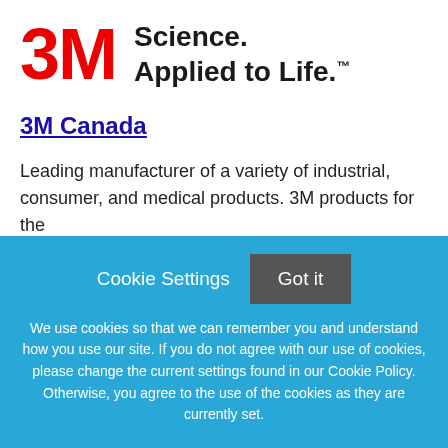[Figure (logo): 3M logo in red with tagline 'Science. Applied to Life.™' in black]
3M Canada
Leading manufacturer of a variety of industrial, consumer, and medical products. 3M products for the
Cookie Settings   Got it
We use cookies so that we can remember you and understand how you use our site. If you do not agree with our use of cookies, please change the current settings found in our Cookie Policy. Otherwise, you agree to the use of the cookies as they are currently set.